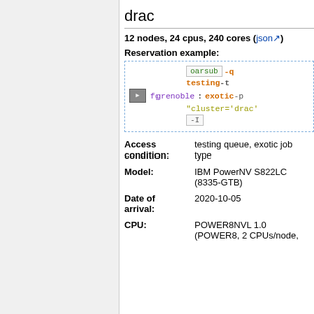drac
12 nodes, 24 cpus, 240 cores (json)
Reservation example:
[Figure (screenshot): Code box showing oarsub command: oarsub -q testing -t fgrenoble : exotic -p "cluster='drac'" -I]
|  |  |
| --- | --- |
| Access condition: | testing queue, exotic job type |
| Model: | IBM PowerNV S822LC (8335-GTB) |
| Date of arrival: | 2020-10-05 |
| CPU: | POWER8NVL 1.0 (POWER8, 2 CPUs/node, |